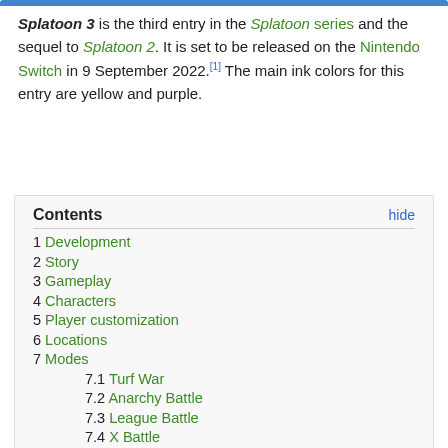Splatoon 3 is the third entry in the Splatoon series and the sequel to Splatoon 2. It is set to be released on the Nintendo Switch in 9 September 2022.[1] The main ink colors for this entry are yellow and purple.
Contents [hide] 1 Development 2 Story 3 Gameplay 4 Characters 5 Player customization 6 Locations 7 Modes 7.1 Turf War 7.2 Anarchy Battle 7.3 League Battle 7.4 X Battle 7.5 The Shoal